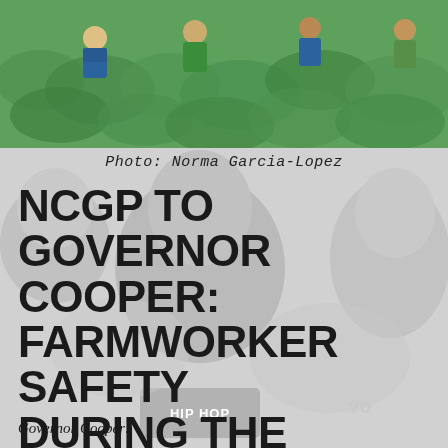[Figure (photo): Color photograph of farmworkers working in a green leafy field, seen from above, with green-tinted background]
Photo: Norma Garcia-Lopez
NCGP TO GOVERNOR COOPER: FARMWORKER SAFETY DURING THE PANDEMIC IS MORE IMPORTANT THAN PROFITS
Governor Cooper: